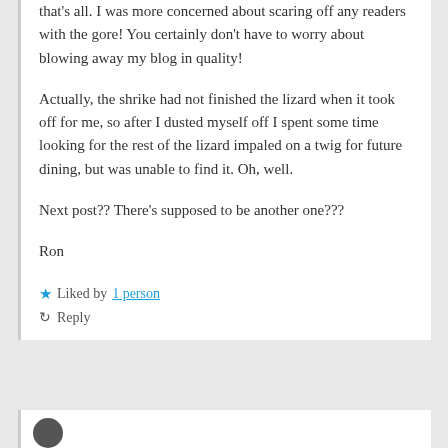that's all. I was more concerned about scaring off any readers with the gore! You certainly don't have to worry about blowing away my blog in quality!
Actually, the shrike had not finished the lizard when it took off for me, so after I dusted myself off I spent some time looking for the rest of the lizard impaled on a twig for future dining, but was unable to find it. Oh, well.
Next post?? There's supposed to be another one???
Ron
★ Liked by 1 person
↺ Reply